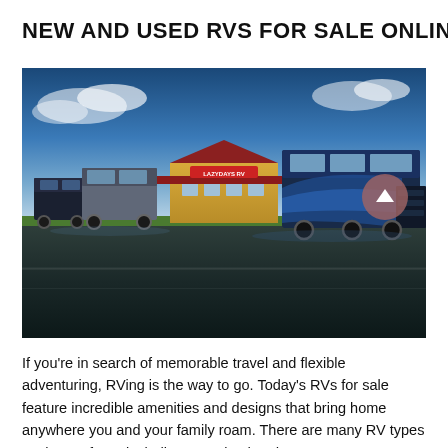NEW AND USED RVS FOR SALE ONLINE
[Figure (photo): RV dealership exterior with multiple motorhomes and coaches parked in front of a yellow building with a red roof and 'Lazydays RV' signage, under a blue sky with clouds, reflected parking lot.]
If you're in search of memorable travel and flexible adventuring, RVing is the way to go. Today's RVs for sale feature incredible amenities and designs that bring home anywhere you and your family roam. There are many RV types to choose from, including motorized and